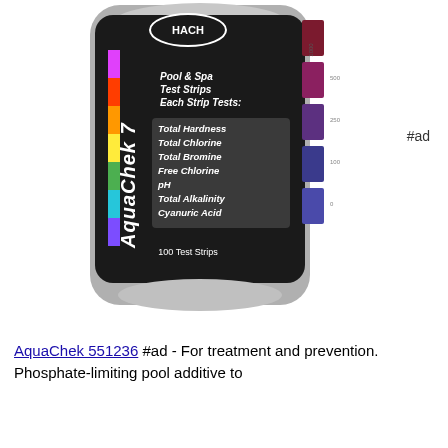[Figure (photo): AquaChek 7 Pool & Spa Test Strips bottle by HACH, showing a dark label with colorful test strip indicator, listing: Total Hardness, Total Chlorine, Total Bromine, Free Chlorine, pH, Total Alkalinity, Cyanuric Acid. 100 Test Strips. Color scale on right side showing values 0, 100, 250, 500, 1000.]
#ad
AquaChek 551236 #ad - For treatment and prevention. Phosphate-limiting pool additive to